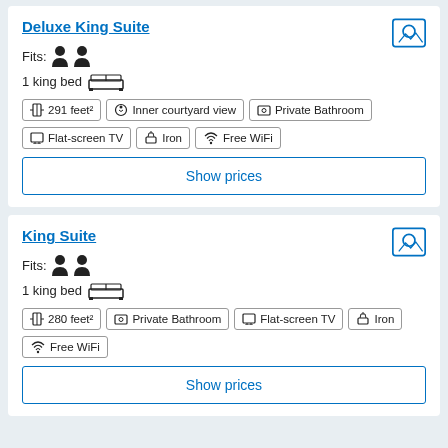Deluxe King Suite
Fits: 👤 👤
1 king bed 🛏
291 feet²
Inner courtyard view
Private Bathroom
Flat-screen TV
Iron
Free WiFi
Show prices
King Suite
Fits: 👤 👤
1 king bed 🛏
280 feet²
Private Bathroom
Flat-screen TV
Iron
Free WiFi
Show prices